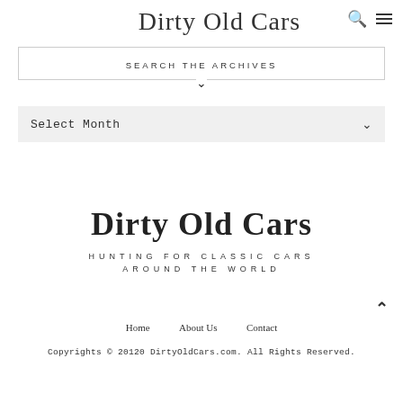Dirty Old Cars
SEARCH THE ARCHIVES
Select Month
Dirty Old Cars
HUNTING FOR CLASSIC CARS AROUND THE WORLD
Home    About Us    Contact
Copyrights © 20120 DirtyOldCars.com. All Rights Reserved.